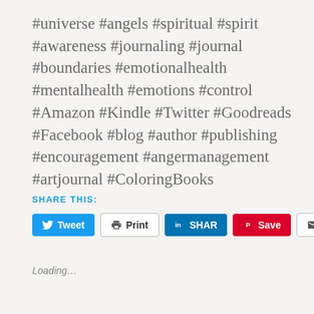#universe #angels #spiritual #spirit #awareness #journaling #journal #boundaries #emotionalhealth #mentalhealth #emotions #control #Amazon #Kindle #Twitter #Goodreads #Facebook #blog #author #publishing #encouragement #angermanagement #artjournal #ColoringBooks
SHARE THIS:
[Figure (other): Social share buttons: Tweet, Print, SHARE (LinkedIn), Save (Pinterest), Email]
Loading...